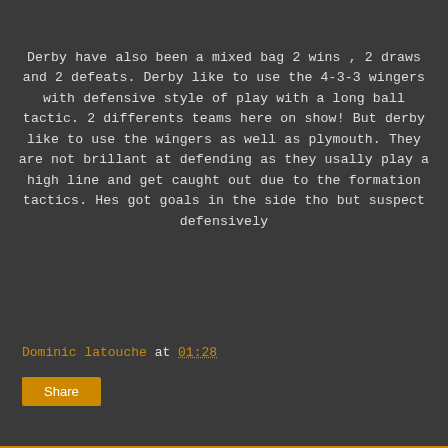Derby have also been a mixed bag 2 wins , 2 draws and 2 defeats. Derby like to use the 4-3-3 wingers with defensive style of play with a long ball tactic. 2 differents teams here on show! But derby like to use the wingers as well as plymouth. They are not brillant at defending as they usally play a high line and get caught out due to the formation tactics. Hes got goals in the side tho but suspect defensively
Dominic latouche at 01:28
Share